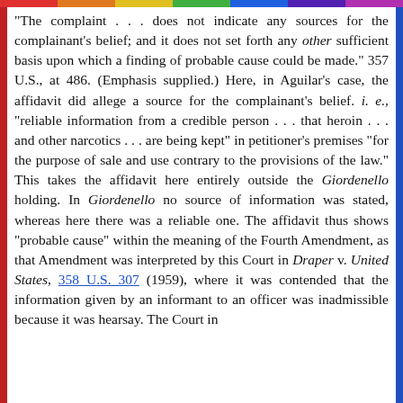"The complaint . . . does not indicate any sources for the complainant's belief; and it does not set forth any other sufficient basis upon which a finding of probable cause could be made." 357 U.S., at 486. (Emphasis supplied.) Here, in Aguilar's case, the affidavit did allege a source for the complainant's belief. i. e., "reliable information from a credible person . . . that heroin . . . and other narcotics . . . are being kept" in petitioner's premises "for the purpose of sale and use contrary to the provisions of the law." This takes the affidavit here entirely outside the Giordenello holding. In Giordenello no source of information was stated, whereas here there was a reliable one. The affidavit thus shows "probable cause" within the meaning of the Fourth Amendment, as that Amendment was interpreted by this Court in Draper v. United States, 358 U.S. 307 (1959), where it was contended that the information given by an informant to an officer was inadmissible because it was hearsay. The Court in